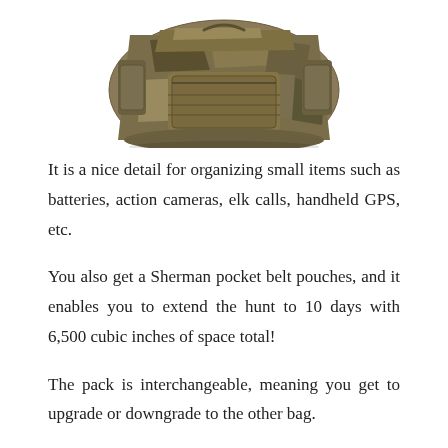[Figure (photo): A military-style camouflage tactical backpack/pack shown from a front-angle view, with multiple pockets and MOLLE webbing.]
It is a nice detail for organizing small items such as batteries, action cameras, elk calls, handheld GPS, etc.
You also get a Sherman pocket belt pouches, and it enables you to extend the hunt to 10 days with 6,500 cubic inches of space total!
The pack is interchangeable, meaning you get to upgrade or downgrade to the other bag.
The hydration bladder support is excellent, too.